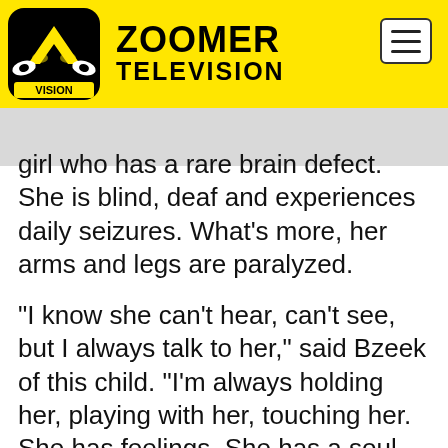ZOOMER TELEVISION
girl who has a rare brain defect. She is blind, deaf and experiences daily seizures. What’s more, her arms and legs are paralyzed.
“I know she can’t hear, can’t see, but I always talk to her,” said Bzeek of this child. “I’m always holding her, playing with her, touching her. She has feelings. She has a soul. She’s a human being.”
Currently, a GoFundMe campaign has been launched on Bzeek’s behalf. The goal is to raise funds that’ll help Bzeek